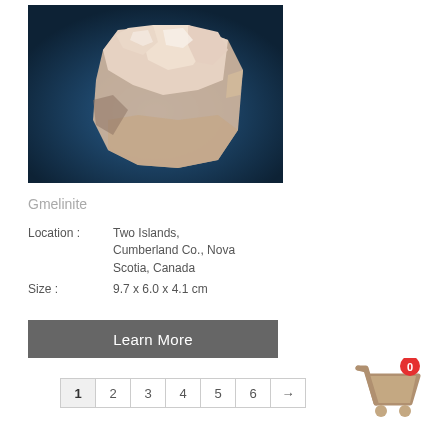[Figure (photo): Photograph of a Gmelinite mineral specimen — white/cream crystalline rock against a dark blue background]
Gmelinite
Location : Two Islands, Cumberland Co., Nova Scotia, Canada
Size : 9.7 x 6.0 x 4.1 cm
Learn More
1
2
3
4
5
6
→
[Figure (illustration): Shopping cart icon with a red badge showing 0]